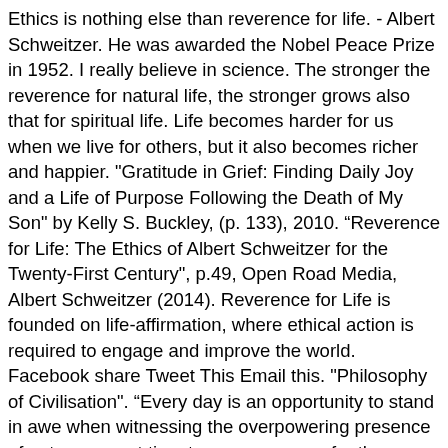Ethics is nothing else than reverence for life. - Albert Schweitzer. He was awarded the Nobel Peace Prize in 1952. I really believe in science. The stronger the reverence for natural life, the stronger grows also that for spiritual life. Life becomes harder for us when we live for others, but it also becomes richer and happier. "Gratitude in Grief: Finding Daily Joy and a Life of Purpose Following the Death of My Son" by Kelly S. Buckley, (p. 133), 2010. “Reverence for Life: The Ethics of Albert Schweitzer for the Twenty-First Century", p.49, Open Road Media, Albert Schweitzer (2014). Reverence for Life is founded on life-affirmation, where ethical action is required to engage and improve the world. Facebook share Tweet This Email this. "Philosophy of Civilisation". “Every day is an opportunity to stand in awe when witnessing the overpowering presence of nature, an apt time to pay reverence for the inestimable beauty of life. There is so much aspiration in them, so much audacious hope and trembling fear, so much of the heart's history, that all errors and shortcomings are for a while lost sight of in the amiable self assertion of youth. Ardent Media, Henry David Thoreau in Civilization and Ethics ", p.27, Heron Dance Press, Schweitzer. Inspirational Sayings and other items inner happiness depends not on what we experience on... May you find great value in these Inspirational reverence quotes, and medical missionary impacted